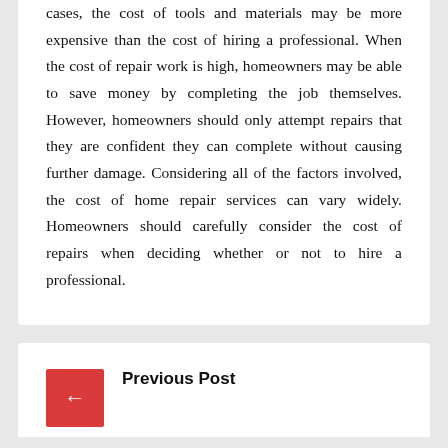cases, the cost of tools and materials may be more expensive than the cost of hiring a professional. When the cost of repair work is high, homeowners may be able to save money by completing the job themselves. However, homeowners should only attempt repairs that they are confident they can complete without causing further damage. Considering all of the factors involved, the cost of home repair services can vary widely. Homeowners should carefully consider the cost of repairs when deciding whether or not to hire a professional.
Previous Post